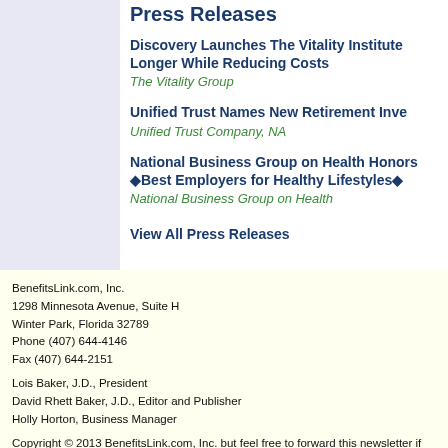Press Releases
Discovery Launches The Vitality Institute Longer While Reducing Costs — The Vitality Group
Unified Trust Names New Retirement Inve... — Unified Trust Company, NA
National Business Group on Health Honors Best Employers for Healthy Lifestyles — National Business Group on Health
View All Press Releases
BenefitsLink.com, Inc.
1298 Minnesota Avenue, Suite H
Winter Park, Florida 32789
Phone (407) 644-4146
Fax (407) 644-2151

Lois Baker, J.D., President
David Rhett Baker, J.D., Editor and Publisher
Holly Horton, Business Manager

Copyright © 2013 BenefitsLink.com, Inc. but feel free to forward this newsletter if